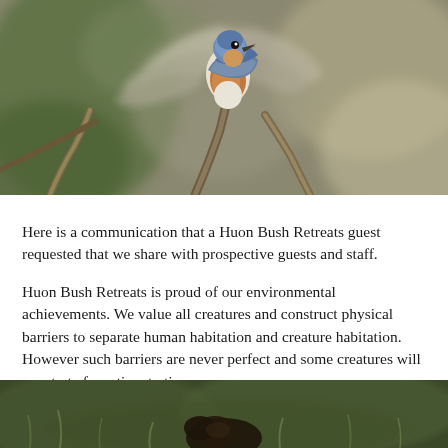[Figure (photo): A small bird with orange-red breast and blue-grey head, wings spread in motion, perched on a bare twig. Background is blurred green and brown bokeh. Photo taken in nature.]
Here is a communication that a Huon Bush Retreats guest requested that we share with prospective guests and staff.
Huon Bush Retreats is proud of our environmental achievements. We value all creatures and construct physical barriers to separate human habitation and creature habitation. However such barriers are never perfect and some creatures will penetrate from time to time.
[Figure (photo): Partial view of a small dark-colored animal (possibly a Tasmanian animal) on the ground with green grass in the background, partially visible at bottom of page.]